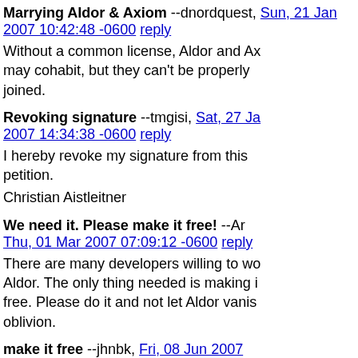Marrying Aldor & Axiom --dnordquest, Sun, 21 Jan 2007 10:42:48 -0600 reply
Without a common license, Aldor and Axiom may cohabit, but they can't be properly joined.
Revoking signature --tmgisi, Sat, 27 Jan 2007 14:34:38 -0600 reply
I hereby revoke my signature from this petition.
Christian Aistleitner
We need it. Please make it free! --An, Thu, 01 Mar 2007 07:09:12 -0600 reply
There are many developers willing to work on Aldor. The only thing needed is making it free. Please do it and not let Aldor vanish into oblivion.
make it free --jhnbk, Fri, 08 Jun 2007 03:47:45 -0500 reply
Get it free please, it would be a great su for the axiom project